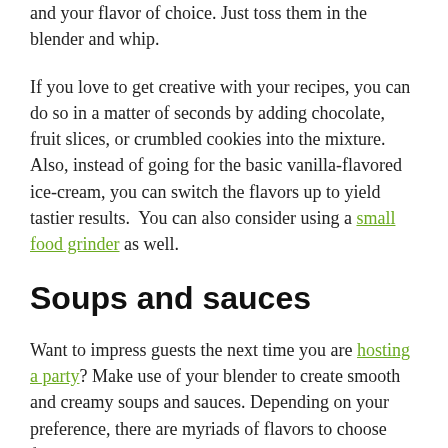and your flavor of choice. Just toss them in the blender and whip.
If you love to get creative with your recipes, you can do so in a matter of seconds by adding chocolate, fruit slices, or crumbled cookies into the mixture. Also, instead of going for the basic vanilla-flavored ice-cream, you can switch the flavors up to yield tastier results.  You can also consider using a small food grinder as well.
Soups and sauces
Want to impress guests the next time you are hosting a party? Make use of your blender to create smooth and creamy soups and sauces. Depending on your preference, there are myriads of flavors to choose from. For instance, butternut